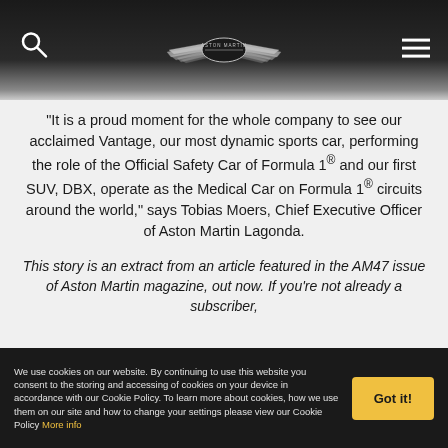Aston Martin website header with logo, search icon, and menu icon
“It is a proud moment for the whole company to see our acclaimed Vantage, our most dynamic sports car, performing the role of the Official Safety Car of Formula 1® and our first SUV, DBX, operate as the Medical Car on Formula 1® circuits around the world,” says Tobias Moers, Chief Executive Officer of Aston Martin Lagonda.
This story is an extract from an article featured in the AM47 issue of Aston Martin magazine, out now. If you’re not already a subscriber,
We use cookies on our website. By continuing to use this website you consent to the storing and accessing of cookies on your device in accordance with our Cookie Policy. To learn more about cookies, how we use them on our site and how to change your settings please view our Cookie Policy More info